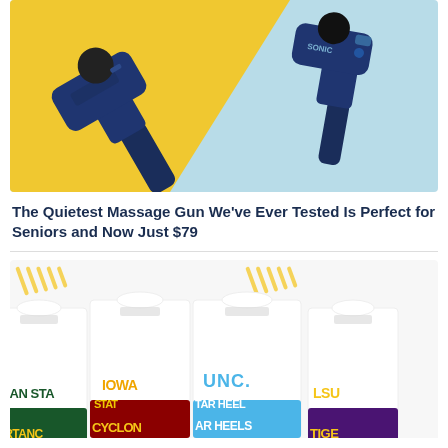[Figure (photo): Two blue Theragun/sonic massage guns on a yellow and light blue diagonal split background]
The Quietest Massage Gun We've Ever Tested Is Perfect for Seniors and Now Just $79
[Figure (photo): Multiple folded white t-shirts with colorful university team names printed on them: Michigan State Spartans, Iowa State Cyclones, UNC Tar Heels, LSU Tigers]